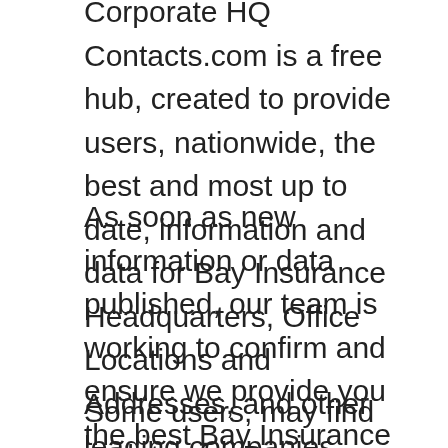Corporate HQ Contacts.com is a free hub, created to provide users, nationwide, the best and most up to date, information and data for Bay Insurance Headquarters, Office Locations and Addresses, and other leading companies nationwide and worldwide.
As soon as new information or data published, our team is working to confirm and ensure we provide you the best Bay Insurance Headquarters, Office Locations and Addresses details and information.
Some users, may find updates for Bay Insurance Headquarters, Office Locations